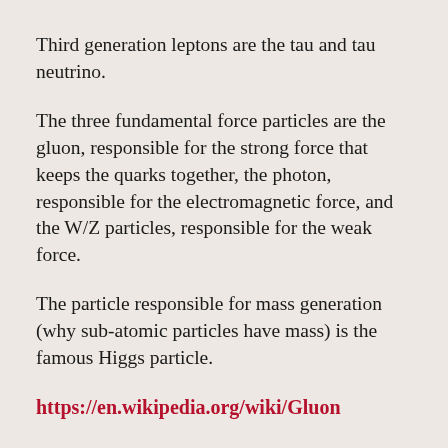Third generation leptons are the tau and tau neutrino.
The three fundamental force particles are the gluon, responsible for the strong force that keeps the quarks together, the photon, responsible for the electromagnetic force, and the W/Z particles, responsible for the weak force.
The particle responsible for mass generation (why sub-atomic particles have mass) is the famous Higgs particle.
https://en.wikipedia.org/wiki/Gluon